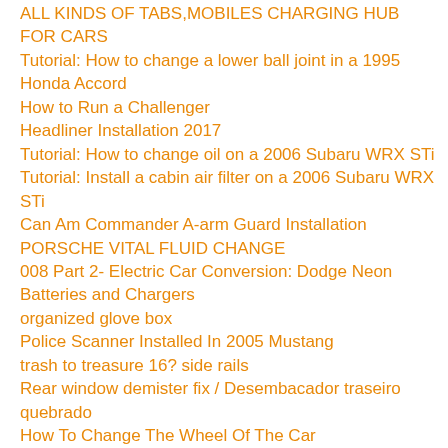ALL KINDS OF TABS,MOBILES CHARGING HUB FOR CARS
Tutorial: How to change a lower ball joint in a 1995 Honda Accord
How to Run a Challenger
Headliner Installation 2017
Tutorial: How to change oil on a 2006 Subaru WRX STi
Tutorial: Install a cabin air filter on a 2006 Subaru WRX STi
Can Am Commander A-arm Guard Installation
PORSCHE VITAL FLUID CHANGE
008 Part 2- Electric Car Conversion: Dodge Neon Batteries and Chargers
organized glove box
Police Scanner Installed In 2005 Mustang
trash to treasure 16? side rails
Rear window demister fix / Desembacador traseiro quebrado
How To Change The Wheel Of The Car
Valve Spring Compressor Tool Adapter
Mer-Chevy Project: Tranny & Flywheel removal
BMW 316i SE 2001 Cam Sensor Replace DIY orange light SRS
Ham Radio in 2006 Mustang with hidden wires
Tutorial: Replace 2004 Honda Civic Brake Pads and Rotors
How to Remove Light Scratches in Door Handles
Funky Air Conditioning Repair
Tutorial: How to change rear brake pads on a 2008 Honda Accord